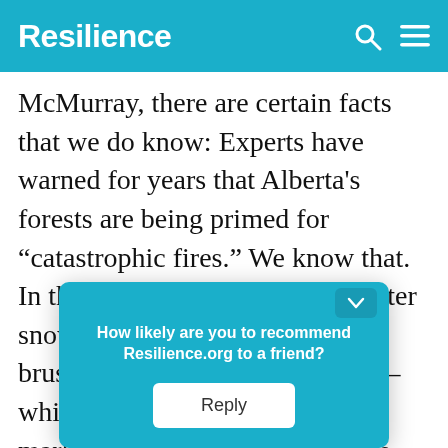Resilience
McMurray, there are certain facts that we do know: Experts have warned for years that Alberta's forests are being primed for “catastrophic fires.” We know that. In the boreal forest, once the winter snowpack melts, the exposed dry brush serves as perfect kindling—which is why this time of year marks the start of fire season. We know [obscured by popup] s, a vanish[obscured by popup] ght condit[obscured by popup] s of
How likely are you to recommend Resilience.org to a friend?
Reply